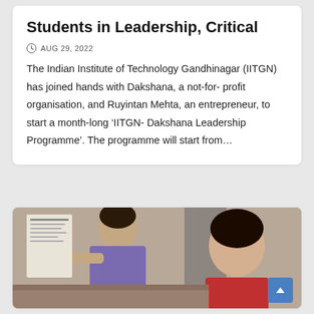Students in Leadership, Critical
AUG 29, 2022
The Indian Institute of Technology Gandhinagar (IITGN) has joined hands with Dakshana, a not-for-profit organisation, and Ruyintan Mehta, an entrepreneur, to start a month-long ‘IITGN-Dakshana Leadership Programme’. The programme will start from…
[Figure (photo): Students sitting and studying, one pointing at a document or board, photographed in a classroom or institutional setting.]